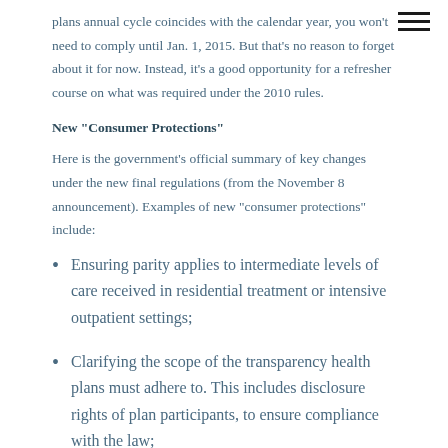plans annual cycle coincides with the calendar year, you won't need to comply until Jan. 1, 2015. But that's no reason to forget about it for now. Instead, it's a good opportunity for a refresher course on what was required under the 2010 rules.
New "Consumer Protections"
Here is the government's official summary of key changes under the new final regulations (from the November 8 announcement). Examples of new "consumer protections" include:
Ensuring parity applies to intermediate levels of care received in residential treatment or intensive outpatient settings;
Clarifying the scope of the transparency health plans must adhere to. This includes disclosure rights of plan participants, to ensure compliance with the law;